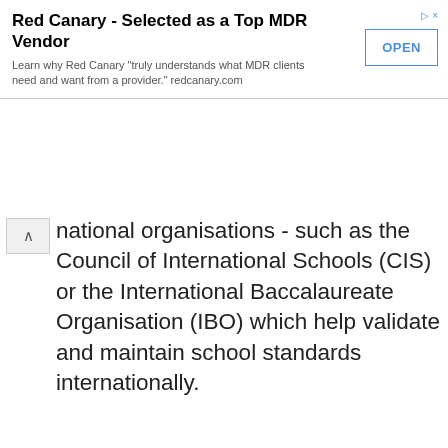[Figure (screenshot): Advertisement banner for Red Canary - Selected as a Top MDR Vendor with OPEN button]
national organisations - such as the Council of International Schools (CIS) or the International Baccalaureate Organisation (IBO) which help validate and maintain school standards internationally.
This website uses cookies to ensure you get the best experience on our website.
Cookie Policy
Got it!
sheer necessity is the best teacher. Total